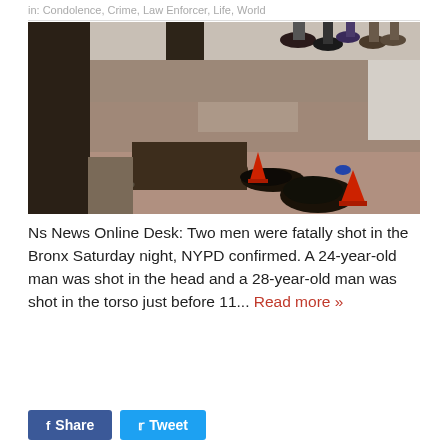in: Condolence, Crime, Law Enforcer, Life, World
[Figure (photo): Crime scene photo showing sidewalk with red evidence cones, scattered items on pavement, and people's feet visible in background]
Ns News Online Desk: Two men were fatally shot in the Bronx Saturday night, NYPD confirmed. A 24-year-old man was shot in the head and a 28-year-old man was shot in the torso just before 11... Read more »
Share
Tweet